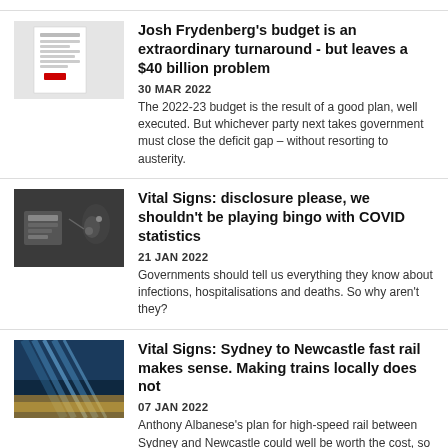[Figure (photo): Photo of a budget document with a red logo on top, on a white/grey surface]
Josh Frydenberg's budget is an extraordinary turnaround - but leaves a $40 billion problem
30 MAR 2022
The 2022-23 budget is the result of a good plan, well executed. But whichever party next takes government must close the deficit gap – without resorting to austerity.
[Figure (photo): Photo of hands at a table with cards or papers, dark background]
Vital Signs: disclosure please, we shouldn't be playing bingo with COVID statistics
21 JAN 2022
Governments should tell us everything they know about infections, hospitalisations and deaths. So why aren't they?
[Figure (photo): Photo of railway tracks or train lines with light trails at dusk/blue tones]
Vital Signs: Sydney to Newcastle fast rail makes sense. Making trains locally does not
07 JAN 2022
Anthony Albanese's plan for high-speed rail between Sydney and Newcastle could well be worth the cost, so long as he doesn't muddy it with 1970s-style industry policy.